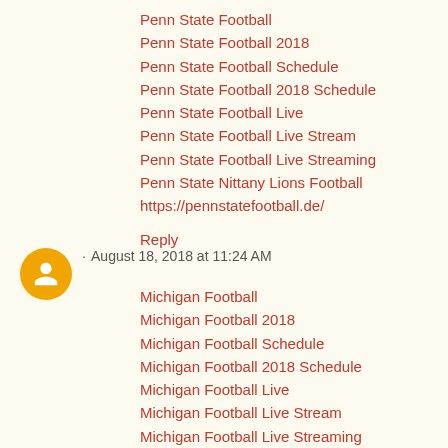Penn State Football
Penn State Football 2018
Penn State Football Schedule
Penn State Football 2018 Schedule
Penn State Football Live
Penn State Football Live Stream
Penn State Football Live Streaming
Penn State Nittany Lions Football
https://pennstatefootball.de/
Reply
. August 18, 2018 at 11:24 AM
Michigan Football
Michigan Football 2018
Michigan Football Schedule
Michigan Football 2018 Schedule
Michigan Football Live
Michigan Football Live Stream
Michigan Football Live Streaming
https://michiganfootball.de/